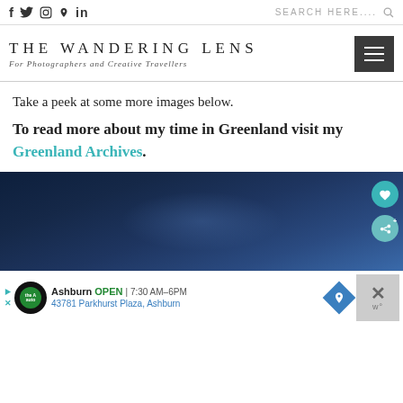f  twitter  instagram  pinterest  in  |  SEARCH HERE....
[Figure (logo): The Wandering Lens logo - For Photographers and Creative Travellers, with hamburger menu icon]
Take a peek at some more images below.
To read more about my time in Greenland visit my Greenland Archives.
[Figure (photo): Dark blue night sky photograph of Greenland, with heart and share buttons on right side]
[Figure (infographic): Advertisement bar: Ashburn OPEN | 7:30 AM-6PM, 43781 Parkhurst Plaza, Ashburn, with auto logo and map icon]